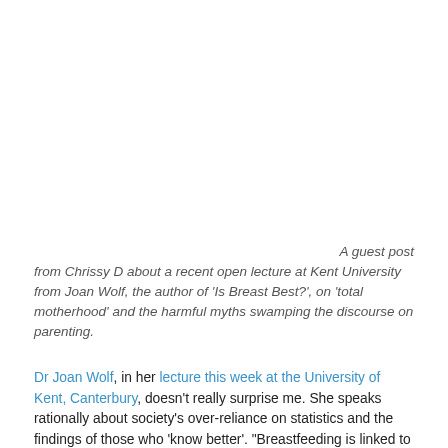A guest post from Chrissy D about a recent open lecture at Kent University from Joan Wolf, the author of 'Is Breast Best?', on 'total motherhood' and the harmful myths swamping the discourse on parenting.
Dr Joan Wolf, in her lecture this week at the University of Kent, Canterbury, doesn't really surprise me. She speaks rationally about society's over-reliance on statistics and the findings of those who 'know better'. "Breastfeeding is linked to other health-promoting behaviours", she says, highlighting problems in